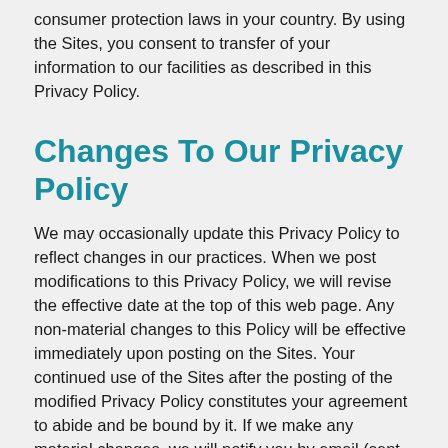consumer protection laws in your country. By using the Sites, you consent to transfer of your information to our facilities as described in this Privacy Policy.
Changes To Our Privacy Policy
We may occasionally update this Privacy Policy to reflect changes in our practices. When we post modifications to this Privacy Policy, we will revise the effective date at the top of this web page. Any non-material changes to this Policy will be effective immediately upon posting on the Sites. Your continued use of the Sites after the posting of the modified Privacy Policy constitutes your agreement to abide and be bound by it. If we make any material changes, we will notify you by email (sent to the e-mail address specified in your account) or by means of a notice on this website thirty (30) days prior to the change becoming effective. We encourage you to periodically review this page for the latest information on our privacy practices. If you object to any modification, your sole recourse is to stop using the Sites and/or to close your